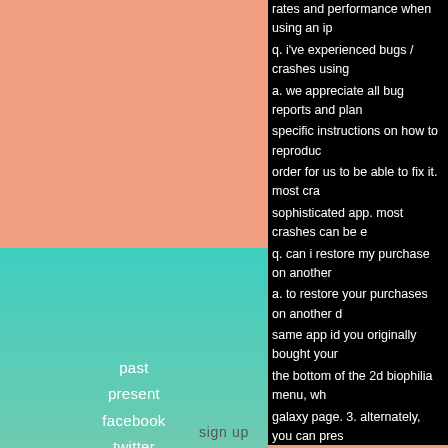rates and performance when using an ip
q. i've experienced bugs / crashes using
a. we appreciate all bug reports and plan
specific instructions on how to reproduc
order for us to be able to fix it. most cra
sophisticated app. most crashes can be e
q. can i restore my purchase on another
a. to restore your purchases on another d
same app id you originally bought your
the bottom of the 2d biophilia menu, wh
galaxy page. 3. alternately, you can pres
servers will respond that you have alrea
again without charge.
q. can i get biophilia on my computer?
a. we have not announced versions of bi
q. i'm struggling to purchase a biophilia
a. sometimes there are delays with in-ap
past
present
facebook
twitter
youtube
sign up